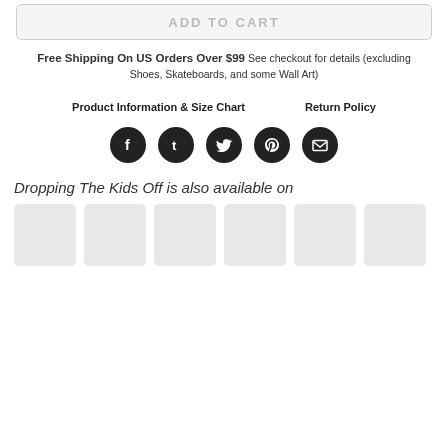ADD TO CART
Free Shipping On US Orders Over $99 See checkout for details (excluding Shoes, Skateboards, and some Wall Art)
Product Information & Size Chart
Return Policy
[Figure (infographic): Five social media share icons (Facebook, Tumblr, Twitter, Pinterest, Email) as dark circles]
Dropping The Kids Off is also available on
[Figure (photo): Row of six product thumbnail placeholder images in light grey]